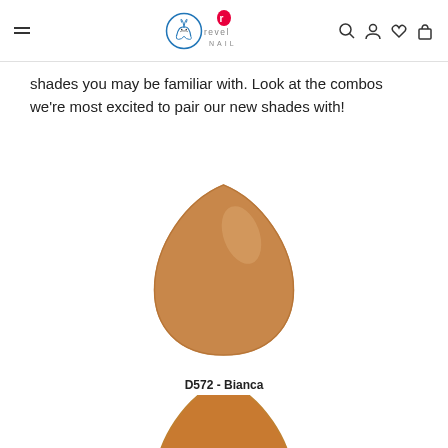Revel Nail website header with navigation menu, logo, search, account, wishlist, and cart icons
shades you may be familiar with. Look at the combos we're most excited to pair our new shades with!
[Figure (illustration): Nail swatch in warm caramel/tan matte color, teardrop/rounded triangular shape — D572 Bianca]
D572 - Bianca
[Figure (illustration): Nail swatch in rose gold glitter texture, teardrop/rounded triangular shape, partially visible at bottom of page]